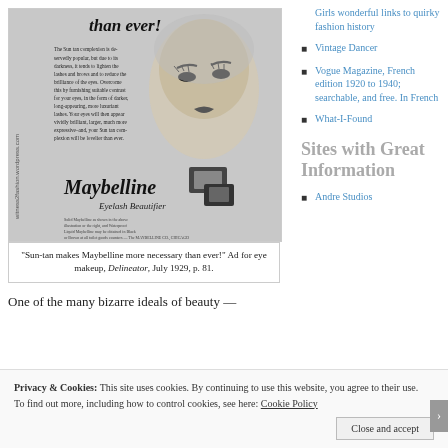[Figure (photo): Vintage Maybelline advertisement showing a 1920s woman's face with dramatic eye makeup and mascara products. Text reads 'than ever!' at top, with body copy about Sun-tan complexion. Maybelline Eyelash Beautifier branding at bottom.]
"Sun-tan makes Maybelline more necessary than ever!" Ad for eye makeup, Delineator, July 1929, p. 81.
One of the many bizarre ideals of beauty —
Girls wonderful links to quirky fashion history
Vintage Dancer
Vogue Magazine, French edition 1920 to 1940; searchable, and free. In French
What-I-Found
Sites with Great Information
Andre Studios
Privacy & Cookies: This site uses cookies. By continuing to use this website, you agree to their use.
To find out more, including how to control cookies, see here: Cookie Policy
Close and accept